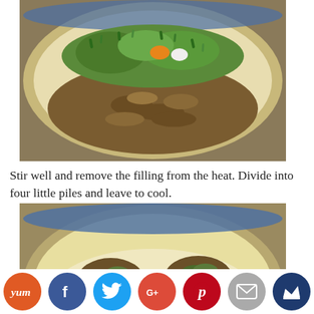[Figure (photo): A pan with cooked ground meat and chopped green vegetables (spring onions/scallions) with small amounts of orange and white spices/condiments on top, in a white skillet.]
Stir well and remove the filling from the heat. Divide into four little piles and leave to cool.
[Figure (photo): The same white skillet now showing four separate piles of the cooked ground meat and green herb filling arranged in the pan.]